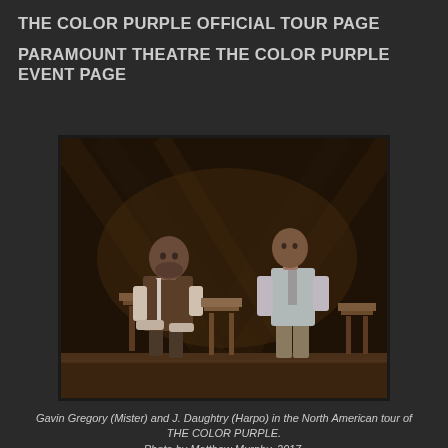THE COLOR PURPLE OFFICIAL TOUR PAGE
PARAMOUNT THEATRE THE COLOR PURPLE EVENT PAGE
[Figure (photo): Two male actors on stage. Left actor (Gavin Gregory as Mister) sits leaning forward on a chair in brown vest and white shirt. Right actor (J. Daughtry as Harpo) stands in light grey shirt and khaki pants. Wooden chairs between them on a wooden stage set with dramatic lighting and rustic backdrop.]
Gavin Gregory (Mister) and J. Daughtry (Harpo) in the North American tour of THE COLOR PURPLE.
Photo by Matthew Murphy, 2017.